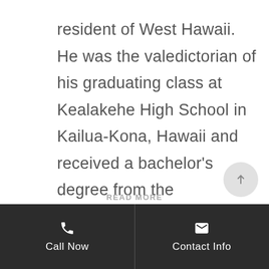resident of West Hawaii. He was the valedictorian of his graduating class at Kealakehe High School in Kailua-Kona, Hawaii and received a bachelor's degree from the prestigious Wesleyan University in Middletown, Connecticut. At Wesleyan, Ryan was the captain of the varsity golf team and was awarded the NESCAC All-Sportsmanship award in both his junior and senior seasons.
Call Now | Contact Info